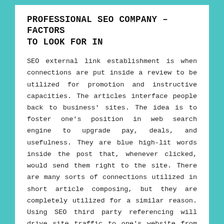PROFESSIONAL SEO COMPANY – FACTORS TO LOOK FOR IN
SEO external link establishment is when connections are put inside a review to be utilized for promotion and instructive capacities. The articles interface people back to business' sites. The idea is to foster one's position in web search engine to upgrade pay, deals, and usefulness. They are blue high-lit words inside the post that, whenever clicked, would send them right to the site. There are many sorts of connections utilized in short article composing, but they are completely utilized for a similar reason. Using SEO third party referencing will drive site traffic to one's website from web journals, catalogs, and different other short article sites. An association that requests for this answer for be utilized for their site will get web traffic from different sites and blog destinations this will surely not just improve their website page rank up on search